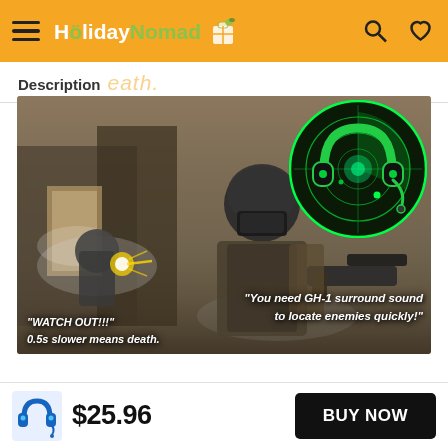HolidayNomad (logo with hamburger menu, search, and heart icons)
Description eath.
[Figure (photo): Gaming product advertisement image showing PUBG-style game scene with armored players, a radar circle overlay with a green gaming headset (GH-1) inside, text overlays: 'WATCH OUT!!!' '0.5s slower means death.' and 'You need GH-1 surround sound to locate enemies quickly!']
$25.96
BUY NOW